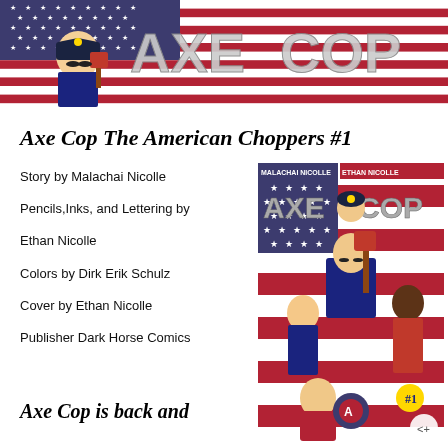[Figure (illustration): Banner image for Axe Cop The American Choppers comic, showing the title text 'AXE COP' in large metallic letters over an American flag background with a cartoon police officer holding an axe]
Axe Cop The American Choppers #1
Story by Malachai Nicolle
Pencils,Inks, and Lettering by
Ethan Nicolle
Colors by Dirk Erik Schulz
Cover by Ethan Nicolle
Publisher Dark Horse Comics
[Figure (illustration): Comic book cover for Axe Cop showing multiple characters including Axe Cop holding a red axe, a female police officer, and other superhero characters against an American flag background]
Axe Cop is back and